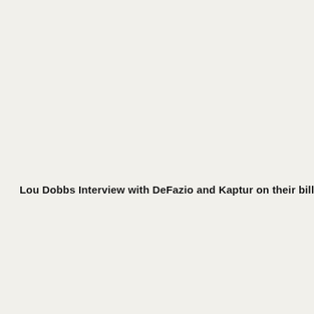Lou Dobbs Interview with DeFazio and Kaptur on their bill: